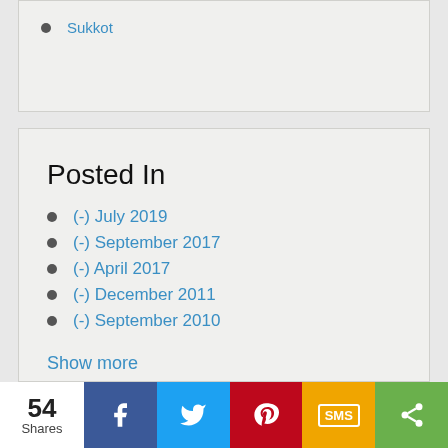Sukkot
Posted In
(-) July 2019
(-) September 2017
(-) April 2017
(-) December 2011
(-) September 2010
Show more
54 Shares